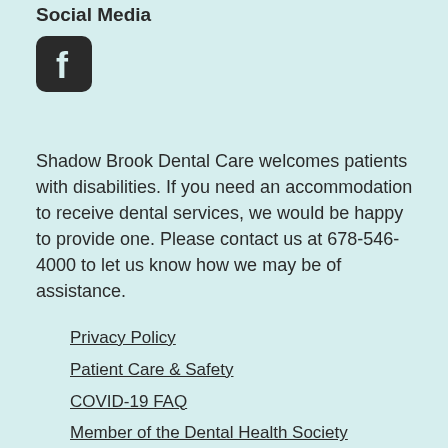Social Media
[Figure (logo): Facebook icon — dark rounded square with white 'f' logo]
Shadow Brook Dental Care welcomes patients with disabilities. If you need an accommodation to receive dental services, we would be happy to provide one. Please contact us at 678-546-4000 to let us know how we may be of assistance.
Privacy Policy
Patient Care & Safety
COVID-19 FAQ
Member of the Dental Health Society